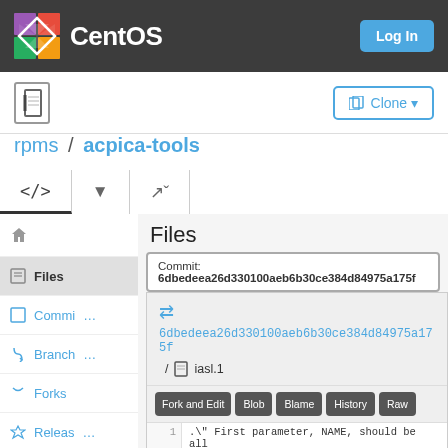CentOS  Log In
Clone
rpms / acpica-tools
Files
Commit: 6dbedeea26d330100aeb6b30ce384d84975a175f
6dbedeea26d330100aeb6b30ce384d84975a175f / iasl.1
Files | Commits | Branches | Forks | Releases
Fork and Edit  Blob  Blame  History  Raw
1  .\": First parameter, NAME, should be all
2  .\": Second parameter, SECTION, should be
3  .\": other parameters are allowed; see ma